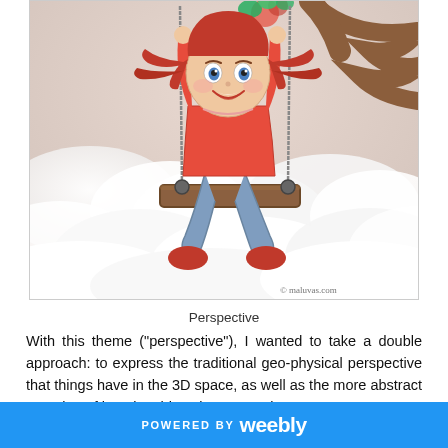[Figure (illustration): Illustration of a joyful girl with red hair swinging on a wooden swing suspended by ropes from a tree branch, set against a background of soft clouds. The girl wears a red top, jeans, and red shoes. A watermark reads '© maluvas.com'.]
Perspective
With this theme ("perspective"), I wanted to take a double approach: to express the traditional geo-physical perspective that things have in the 3D space, as well as the more abstract meaning of keeping things in perspective.
POWERED BY weebly